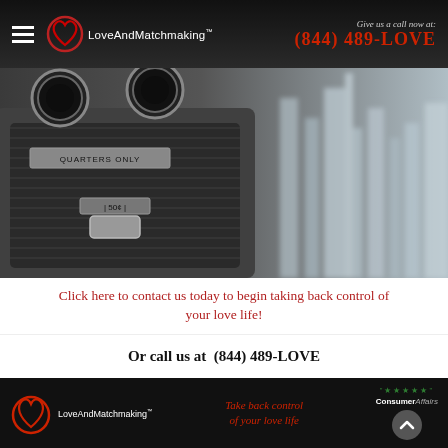LoveAndMatchmaking™ | Give us a call now at: (844) 489-LOVE
[Figure (photo): Close-up of a coin-operated binocular viewer (QUARTERS ONLY, 50¢) with a blurred city skyline in the background]
Click here to contact us today to begin taking back control of your love life!
Or call us at  (844) 489-LOVE
LoveAndMatchmaking™ | Take back control of your love life | ConsumerAffairs ★★★★★